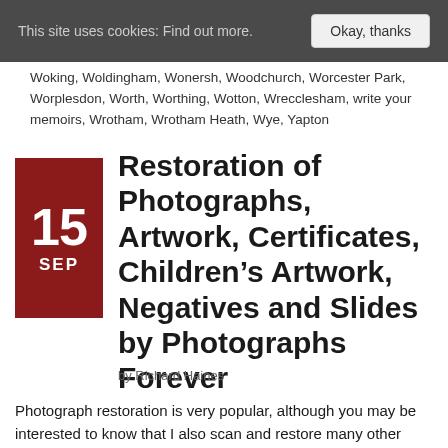This site uses cookies: Find out more.   Okay, thanks
Woking, Woldingham, Wonersh, Woodchurch, Worcester Park, Worplesdon, Worth, Worthing, Wotton, Wrecclesham, write your memoirs, Wrotham, Wrotham Heath, Wye, Yapton
[Figure (other): Date badge showing 15 SEP in white text on dark red background]
Restoration of Photographs, Artwork, Certificates, Children’s Artwork, Negatives and Slides by Photographs Forever
by Richard Haines
Photograph restoration is very popular, although you may be interested to know that I also scan and restore many other